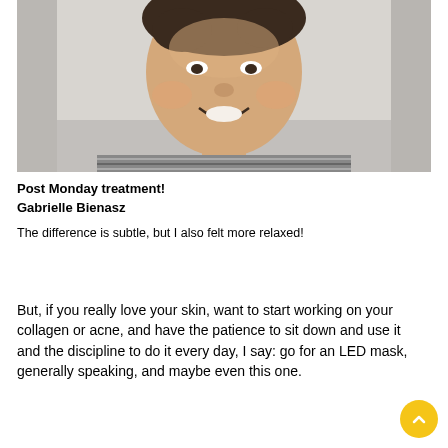[Figure (photo): Close-up selfie photo of a woman with short dark hair, smiling, wearing a striped shirt, against a light background.]
Post Monday treatment!
Gabrielle Bienasz
The difference is subtle, but I also felt more relaxed!
But, if you really love your skin, want to start working on your collagen or acne, and have the patience to sit down and use it and the discipline to do it every day, I say: go for an LED mask, generally speaking, and maybe even this one.